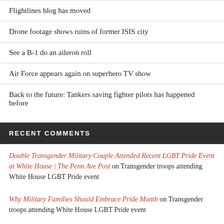Flightlines blog has moved
Drone footage shows ruins of former ISIS city
See a B-1 do an aileron roll
Air Force appears again on superhero TV show
Back to the future: Tankers saving fighter pilots has happened before
RECENT COMMENTS
Double Transgender Military Couple Attended Recent LGBT Pride Event at White House | The Penn Ave Post on Transgender troops attending White House LGBT Pride event
Why Military Families Should Embrace Pride Month on Transgender troops attending White House LGBT Pride event